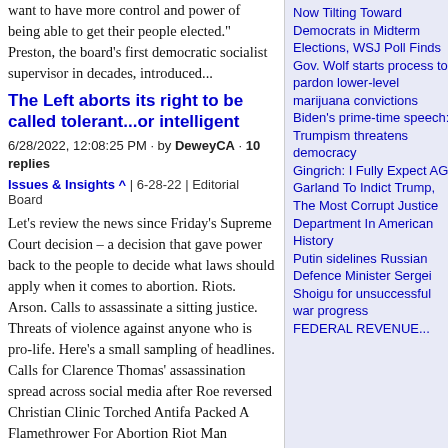want to have more control and power of being able to get their people elected." Preston, the board's first democratic socialist supervisor in decades, introduced...
The Left aborts its right to be called tolerant...or intelligent
6/28/2022, 12:08:25 PM · by DeweyCA · 10 replies
Issues & Insights ^ | 6-28-22 | Editorial Board
Let's review the news since Friday's Supreme Court decision – a decision that gave power back to the people to decide what laws should apply when it comes to abortion. Riots. Arson. Calls to assassinate a sitting justice. Threats of violence against anyone who is pro-life. Here's a small sampling of headlines. Calls for Clarence Thomas' assassination spread across social media after Roe reversed Christian Clinic Torched Antifa Packed A Flamethrower For Abortion Riot Man arrested for attempted murder of LAPD officers amid Roe v. Wade
Now Tilting Toward Democrats in Midterm Elections, WSJ Poll Finds
Gov. Wolf starts process to pardon lower-level marijuana convictions
Biden's prime-time speech: Trumpism threatens democracy
Gingrich: I Fully Expect AG Garland To Indict Trump, The Most Corrupt Justice Department In American History
Putin sidelines Russian Defence Minister Sergei Shoigu for unsuccessful war progress
FEDERAL REVENUE...